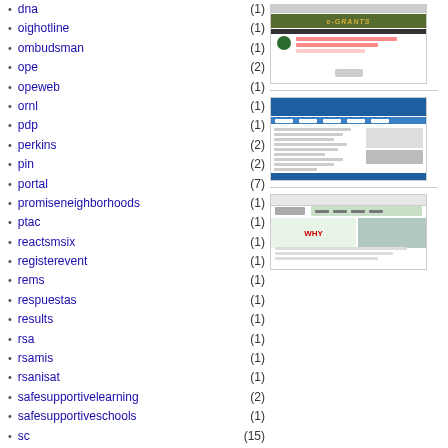dna (1)
oighotline (1)
ombudsman (1)
ope (2)
opeweb (1)
ornl (1)
pdp (1)
perkins (2)
pin (2)
portal (7)
promiseneighborhoods (1)
ptac (1)
reactsmsix (1)
registerevent (1)
rems (1)
respuestas (1)
results (1)
rsa (1)
rsamis (1)
rsanisat (1)
safesupportivelearning (2)
safesupportiveschools (1)
sc (15)
scteachers (1)
scvspconnect (1)
scvspsupport (1)
search (1)
securitytouch (1)
[Figure (screenshot): Screenshot of e-GRANTS website with dark green header bar]
[Figure (screenshot): Screenshot of a blue government portal website with navigation and content columns]
[Figure (screenshot): Screenshot of a website with WHY text and a person at a computer]